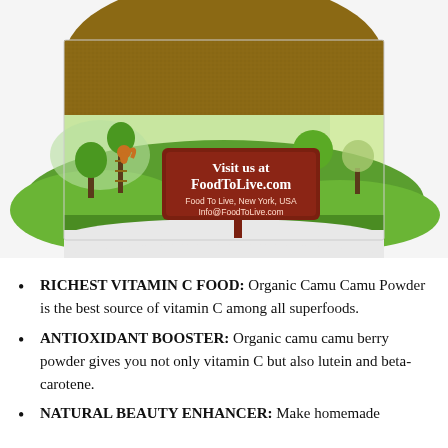[Figure (photo): Product photo of a bag of Food To Live Organic Camu Camu Powder. The bag shows an illustrated countryside scene with green hills, trees, and a cartoon squirrel. A wooden sign reads 'Visit us at FoodToLive.com' with text 'Food To Live, New York, USA' and 'Info@FoodToLive.com'. The top of the bag shows the brown powder contents.]
RICHEST VITAMIN C FOOD: Organic Camu Camu Powder is the best source of vitamin C among all superfoods.
ANTIOXIDANT BOOSTER: Organic camu camu berry powder gives you not only vitamin C but also lutein and beta-carotene.
NATURAL BEAUTY ENHANCER: Make homemade